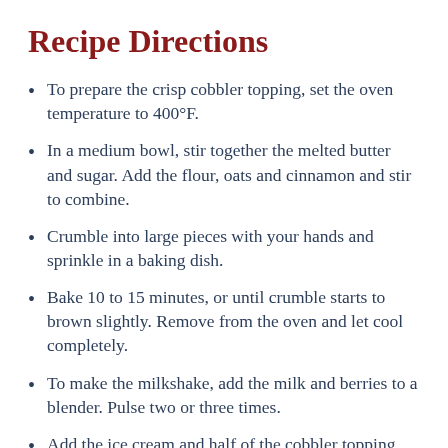Recipe Directions
To prepare the crisp cobbler topping, set the oven temperature to 400°F.
In a medium bowl, stir together the melted butter and sugar. Add the flour, oats and cinnamon and stir to combine.
Crumble into large pieces with your hands and sprinkle in a baking dish.
Bake 10 to 15 minutes, or until crumble starts to brown slightly. Remove from the oven and let cool completely.
To make the milkshake, add the milk and berries to a blender. Pulse two or three times.
Add the ice cream and half of the cobbler topping. Puree until smooth. Add additional